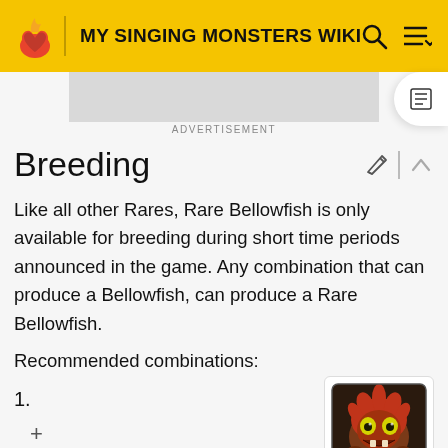MY SINGING MONSTERS WIKI
[Figure (screenshot): Advertisement placeholder area (gray rectangle)]
ADVERTISEMENT
Breeding
Like all other Rares, Rare Bellowfish is only available for breeding during short time periods announced in the game. Any combination that can produce a Bellowfish, can produce a Rare Bellowfish.
Recommended combinations:
1.
[Figure (illustration): Monster character image - red/brown creature with yellow eyes in a square frame]
+